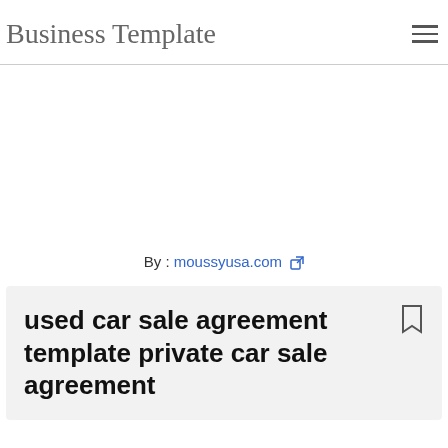Business Template
By : moussyusa.com
used car sale agreement template private car sale agreement